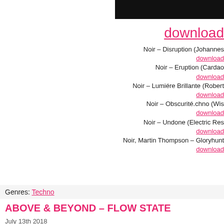[Figure (other): Black navigation bar at top right]
download
Noir – Disruption (Johannes... download
Noir – Eruption (Cardao... download
Noir – Lumiére Brillante (Robert... download
Noir – Obscurité.chno (Wis... download
Noir – Undone (Electric Res... download
Noir, Martin Thompson – Gloryhunt... download
Genres: Techno
ABOVE & BEYOND – FLOW STATE
July 13th 2018